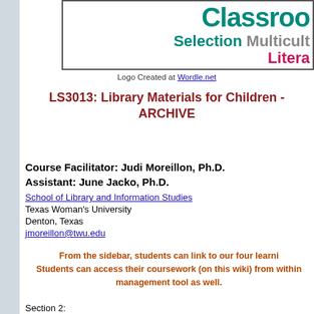[Figure (logo): Classroom Selection Multicultural Literature logo created at Wordle.net]
Logo Created at Wordle.net
LS3013: Library Materials for Children - ARCHIVE
Course Facilitator: Judi Moreillon, Ph.D.
Assistant: June Jacko, Ph.D.
School of Library and Information Studies
Texas Woman's University
Denton, Texas
jmoreillon@twu.edu
From the sidebar, students can link to our four learning modules. Students can access their coursework (on this wiki) from within our course management tool as well.
Section 2:
Our class meets face-to-face on Wednesdays from 6:00 p.m. to 9:00 p.m.